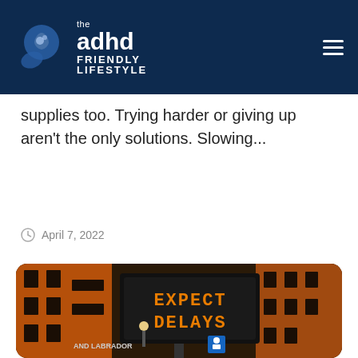the adhd FRIENDLY LIFESTYLE
supplies too. Trying harder or giving up aren't the only solutions. Slowing...
April 7, 2022
[Figure (photo): Street photograph of an LED sign displaying 'EXPECT DELAYS' in orange text, with buildings and street lights visible in the background at night.]